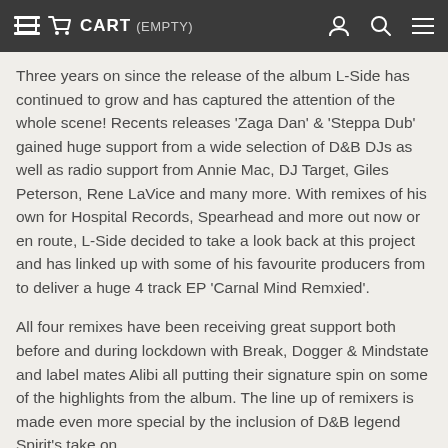CART (EMPTY)
Three years on since the release of the album L-Side has continued to grow and has captured the attention of the whole scene! Recents releases 'Zaga Dan' & 'Steppa Dub' gained huge support from a wide selection of D&B DJs as well as radio support from Annie Mac, DJ Target, Giles Peterson, Rene LaVice and many more. With remixes of his own for Hospital Records, Spearhead and more out now or en route, L-Side decided to take a look back at this project and has linked up with some of his favourite producers from to deliver a huge 4 track EP 'Carnal Mind Remxied'.
All four remixes have been receiving great support both before and during lockdown with Break, Dogger & Mindstate and label mates Alibi all putting their signature spin on some of the highlights from the album. The line up of remixers is made even more special by the inclusion of D&B legend Spirit's take on